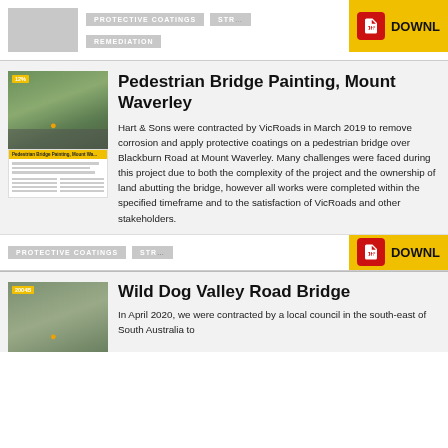[Figure (other): Partial top strip showing previous case study card with tags: PROTECTIVE COATINGS, REMEDIATION, and a DOWNLOAD button]
Pedestrian Bridge Painting, Mount Waverley
Hart & Sons were contracted by VicRoads in March 2019 to remove corrosion and apply protective coatings on a pedestrian bridge over Blackburn Road at Mount Waverley. Many challenges were faced during this project due to both the complexity of the project and the ownership of land abutting the bridge, however all works were completed within the specified timeframe and to the satisfaction of VicRoads and other stakeholders.
PROTECTIVE COATINGS
STRUCTURAL (truncated)
Wild Dog Valley Road Bridge
In April 2020, we were contracted by a local council in the south-east of South Australia to